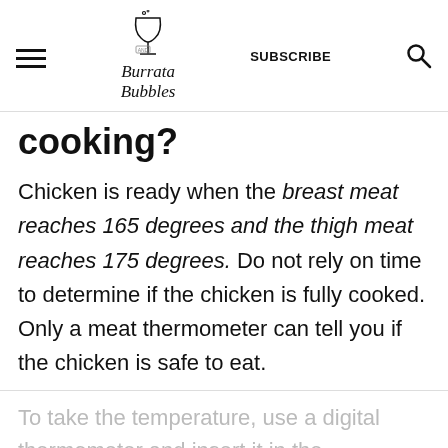Burrata and Bubbles | SUBSCRIBE
cooking?
Chicken is ready when the breast meat reaches 165 degrees and the thigh meat reaches 175 degrees. Do not rely on time to determine if the chicken is fully cooked. Only a meat thermometer can tell you if the chicken is safe to eat.
To take the temperature, use a digital thermometer and insert it in the